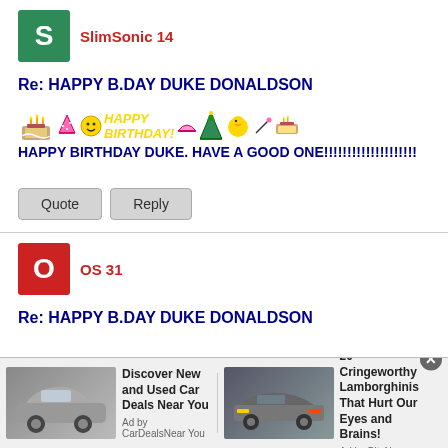SlimSonic 14
Re: HAPPY B.DAY DUKE DONALDSON
HAPPY BIRTHDAY DUKE. HAVE A GOOD ONE!!!!!!!!!!!!!!!!!!!
Quote  Reply
OS 31
Re: HAPPY B.DAY DUKE DONALDSON
[Figure (infographic): Ad bar with car deals and Lamborghini ads]